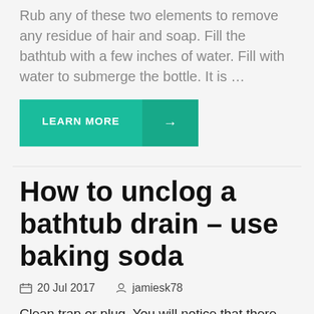Rub any of these two elements to remove any residue of hair and soap. Fill the bathtub with a few inches of water. Fill with water to submerge the bottle. It is …
[Figure (other): A teal 'LEARN MORE' button with an arrow button to the right]
How to unclog a bathtub drain – use baking soda
20 Jul 2017   jamiesk78
Clean trap or plug. You will notice that there may be residue of hairs and soap accumulated under the trap or the plug that is inside or over the drain. Remove the screws that fix the trap and to remove…